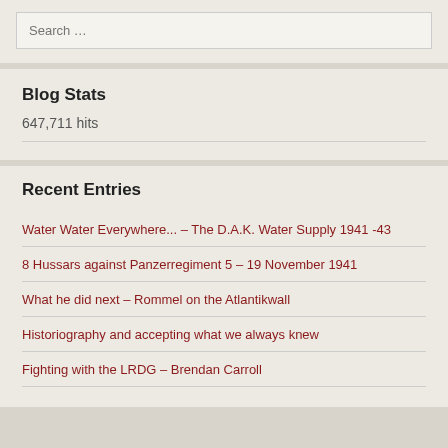Search …
Blog Stats
647,711 hits
Recent Entries
Water Water Everywhere... – The D.A.K. Water Supply 1941 -43
8 Hussars against Panzerregiment 5 – 19 November 1941
What he did next – Rommel on the Atlantikwall
Historiography and accepting what we always knew
Fighting with the LRDG – Brendan Carroll